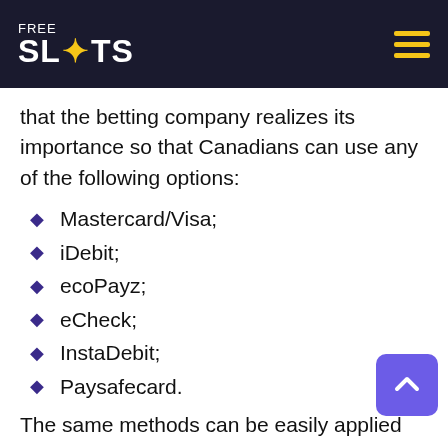FREE SLOTS
that the betting company realizes its importance so that Canadians can use any of the following options:
Mastercard/Visa;
iDebit;
ecoPayz;
eCheck;
InstaDebit;
Paysafecard.
The same methods can be easily applied for withdrawal. Moreover, it is not hard to take out your money with Casino Action. The users have to consider that a pending period makes up 48 hours. On the other hand, it is not very convenient because you have to wait for two days. However,